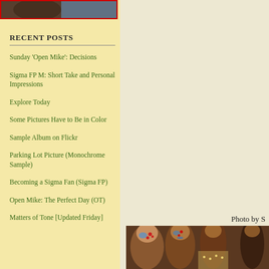[Figure (photo): Partial photo at top of left sidebar, cropped, showing a person with dark tones and blue background, bordered in red]
RECENT POSTS
Sunday 'Open Mike': Decisions
Sigma FP M: Short Take and Personal Impressions
Explore Today
Some Pictures Have to Be in Color
Sample Album on Flickr
Parking Lot Picture (Monochrome Sample)
Becoming a Sigma Fan (Sigma FP)
Open Mike: The Perfect Day (OT)
Matters of Tone [Updated Friday]
Photo by S
[Figure (photo): Bottom photo showing children with face paint (red dots, blue face designs), wearing decorative clothing, partially cropped]